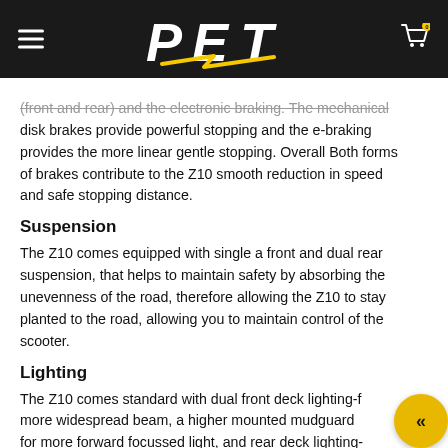PET (logo with lightning bolt)
(front and rear) and the electronic braking. The mechanical disk brakes provide powerful stopping and the e-braking provides the more linear gentle stopping. Overall Both forms of brakes contribute to the Z10 smooth reduction in speed and safe stopping distance.
Suspension
The Z10 comes equipped with single a front and dual rear suspension, that helps to maintain safety by absorbing the unevenness of the road, therefore allowing the Z10 to stay planted to the road, allowing you to maintain control of the scooter.
Lighting
The Z10 comes standard with dual front deck lighting-f more widespread beam, a higher mounted mudguard for more forward focussed light, and rear deck lighting- bodied lighting. Overall the Z10 comes standard with